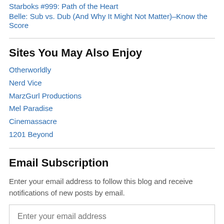Starboks #999: Path of the Heart
Belle: Sub vs. Dub (And Why It Might Not Matter)–Know the Score
Sites You May Also Enjoy
Otherworldly
Nerd Vice
MarzGurl Productions
Mel Paradise
Cinemassacre
1201 Beyond
Email Subscription
Enter your email address to follow this blog and receive notifications of new posts by email.
Enter your email address